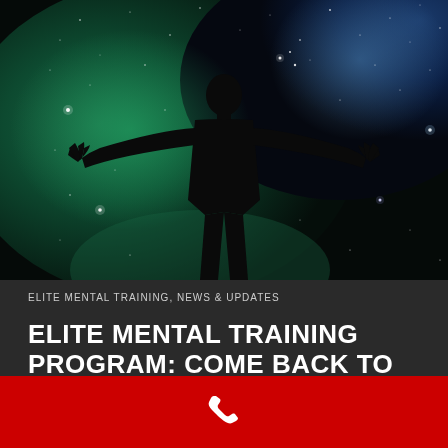[Figure (photo): Silhouette of a person with arms outstretched wide against a cosmic/nebula background with green, blue and dark space colors and stars]
ELITE MENTAL TRAINING, NEWS & UPDATES
ELITE MENTAL TRAINING PROGRAM: COME BACK TO OURSELVES
[Figure (infographic): Red bar at the bottom with a white phone/call icon in the center]